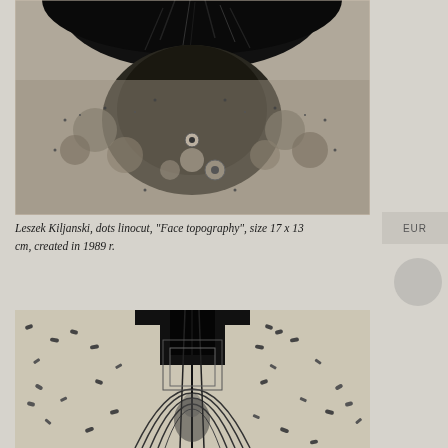[Figure (illustration): A detailed black and white dots linocut artwork showing a close-up of a face or textured organic surface with dark hair-like protrusions at the top and intricate bumpy texture below, rendered in stippling technique.]
Leszek Kiljanski, dots linocut, "Face topography", size 17 x 13 cm, created in 1989 r.
[Figure (illustration): A black and white dots linocut artwork showing an architectural tunnel or arch with a figure in the center, surrounded by scattered dark marks/spots on a light background, with geometric rectangular frames overlaid.]